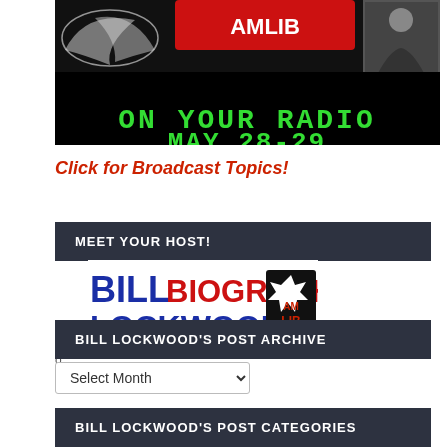[Figure (illustration): Radio show promotional banner with wings logo and text 'ON YOUR RADIO MAY 28-29' in green LED-style font on black background, with a photo of a man in a suit]
Click for Broadcast Topics!
MEET YOUR HOST!
[Figure (logo): Bill Lockwood's AM LIB biography logo — BILL in blue, BIOGRAPHY in red, LOCKWOOD'S in blue, with AM LIB badge on right]
o
BILL LOCKWOOD'S POST ARCHIVE
[Figure (other): Select Month dropdown widget]
BILL LOCKWOOD'S POST CATEGORIES